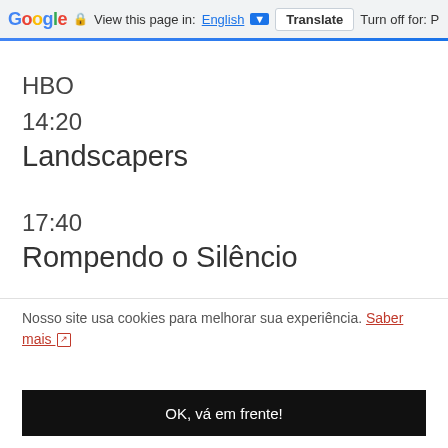Google · View this page in: English ▼ Translate Turn off for: P
HBO
14:20
Landscapers
17:40
Rompendo o Silêncio
Nosso site usa cookies para melhorar sua experiência. Saber mais ↗
OK, vá em frente!